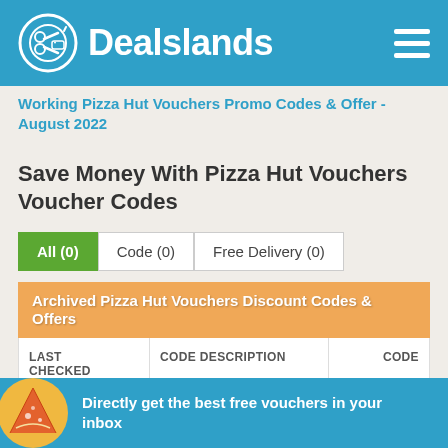Dealslands
Working Pizza Hut Vouchers Promo Codes & Offer - August 2022
Save Money With Pizza Hut Vouchers Voucher Codes
All (0)
Code (0)
Free Delivery (0)
| LAST CHECKED | CODE DESCRIPTION | CODE |
| --- | --- | --- |
Directly get the best free vouchers in your inbox